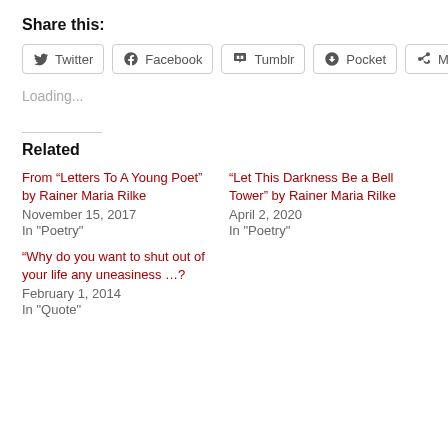Share this:
[Figure (screenshot): Social share buttons: Twitter, Facebook, Tumblr, Pocket, More]
Loading...
Related
From “Letters To A Young Poet” by Rainer Maria Rilke
November 15, 2017
In "Poetry"
“Let This Darkness Be a Bell Tower” by Rainer Maria Rilke
April 2, 2020
In "Poetry"
“Why do you want to shut out of your life any uneasiness …?
February 1, 2014
In "Quote"